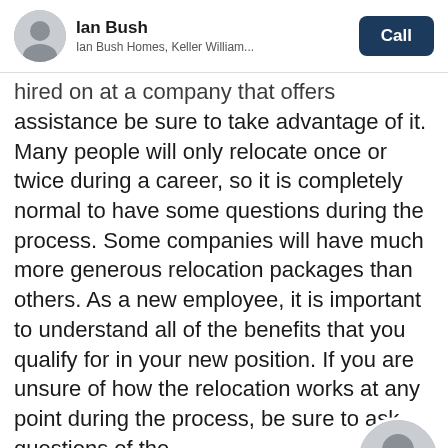Ian Bush | Ian Bush Homes, Keller William... | Call
hired on at a company that offers relocation assistance be sure to take advantage of it. Many people will only relocate once or twice during a career, so it is completely normal to have some questions during the process. Some companies will have much more generous relocation packages than others. As a new employee, it is important to understand all of the benefits that you qualify for in your new position. If you are unsure of how the relocation works at any point during the process, be sure to ask questions of the company you are working for.